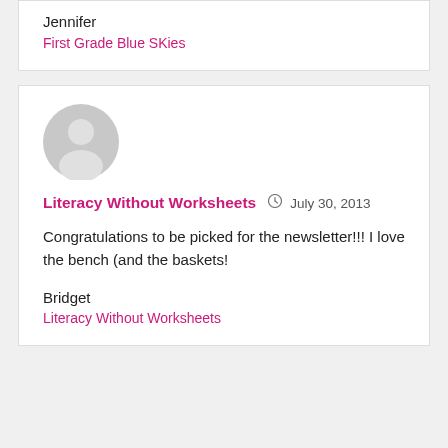Jennifer
First Grade Blue SKies
[Figure (illustration): Gray default avatar icon — a silhouette of a person in a circle]
Literacy Without Worksheets  July 30, 2013
Congratulations to be picked for the newsletter!!! I love the bench (and the baskets!
Bridget
Literacy Without Worksheets